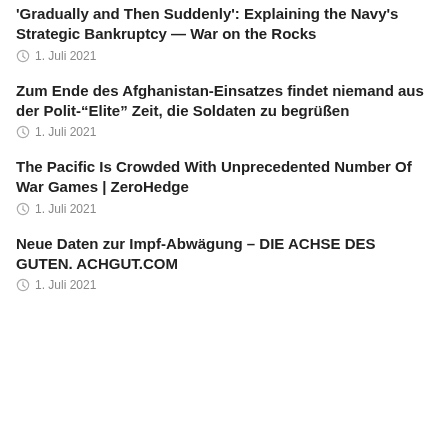'Gradually and Then Suddenly': Explaining the Navy's Strategic Bankruptcy — War on the Rocks
1. Juli 2021
Zum Ende des Afghanistan-Einsatzes findet niemand aus der Polit-“Elite” Zeit, die Soldaten zu begrüßen
1. Juli 2021
The Pacific Is Crowded With Unprecedented Number Of War Games | ZeroHedge
1. Juli 2021
Neue Daten zur Impf-Abwägung – DIE ACHSE DES GUTEN. ACHGUT.COM
1. Juli 2021